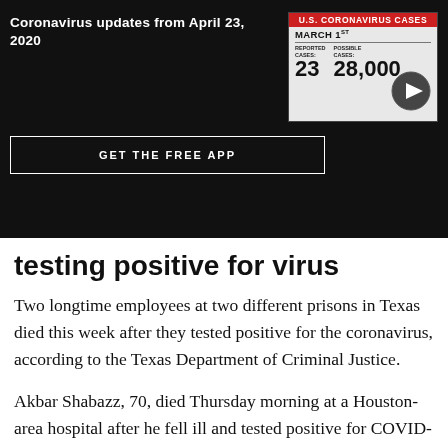Coronavirus updates from April 23, 2020
[Figure (screenshot): U.S. Coronavirus Cases video thumbnail showing MARCH 1ST with REPORTED CASES: 23 and POSSIBLE CASES: 28,000 with a play button overlay]
GET THE FREE APP
testing positive for virus
Two longtime employees at two different prisons in Texas died this week after they tested positive for the coronavirus, according to the Texas Department of Criminal Justice.
Akbar Shabazz, 70, died Thursday morning at a Houston-area hospital after he fell ill and tested positive for COVID-19 on April 3, the department said. Officials said he joined the department as a volunteer and then as a Regional Area Muslim Chaplain in 1977.